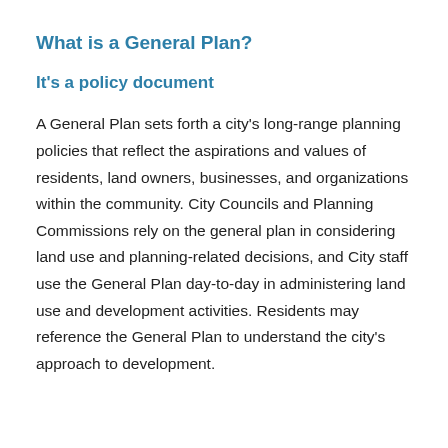What is a General Plan?
It's a policy document
A General Plan sets forth a city's long-range planning policies that reflect the aspirations and values of residents, land owners, businesses, and organizations within the community. City Councils and Planning Commissions rely on the general plan in considering land use and planning-related decisions, and City staff use the General Plan day-to-day in administering land use and development activities. Residents may reference the General Plan to understand the city's approach to development.